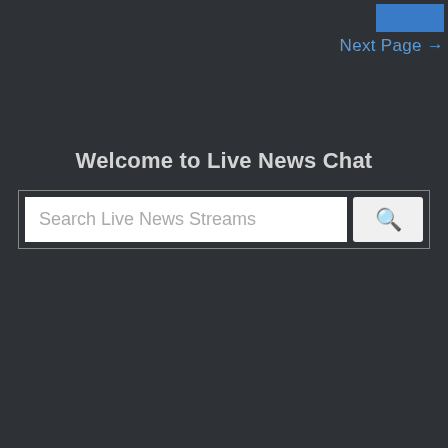[Figure (screenshot): Blue rectangle button in top-right corner of the page]
Next Page →
Welcome to Live News Chat
[Figure (screenshot): Search bar with placeholder text 'Search Live News Streams' and a search icon button on the right]